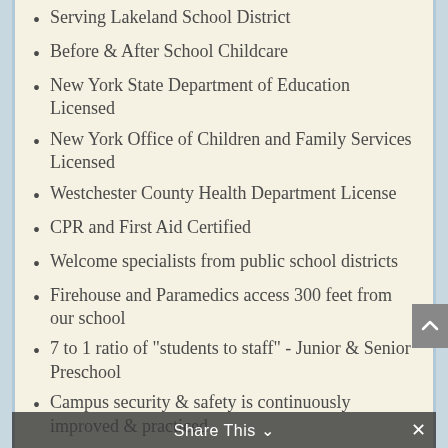Serving Lakeland School District
Before & After School Childcare
New York State Department of Education Licensed
New York Office of Children and Family Services Licensed
Westchester County Health Department License
CPR and First Aid Certified
Welcome specialists from public school districts
Firehouse and Paramedics access 300 feet from our school
7 to 1 ratio of "students to staff" - Junior & Senior Preschool
Campus security & safety is continuously improved & practiced
5 to 1 ratio of "students to staff"-